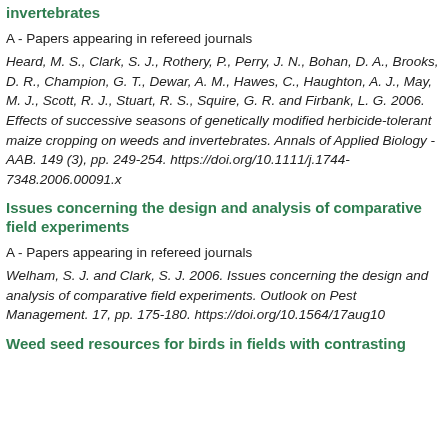invertebrates
A - Papers appearing in refereed journals
Heard, M. S., Clark, S. J., Rothery, P., Perry, J. N., Bohan, D. A., Brooks, D. R., Champion, G. T., Dewar, A. M., Hawes, C., Haughton, A. J., May, M. J., Scott, R. J., Stuart, R. S., Squire, G. R. and Firbank, L. G. 2006. Effects of successive seasons of genetically modified herbicide-tolerant maize cropping on weeds and invertebrates. Annals of Applied Biology - AAB. 149 (3), pp. 249-254. https://doi.org/10.1111/j.1744-7348.2006.00091.x
Issues concerning the design and analysis of comparative field experiments
A - Papers appearing in refereed journals
Welham, S. J. and Clark, S. J. 2006. Issues concerning the design and analysis of comparative field experiments. Outlook on Pest Management. 17, pp. 175-180. https://doi.org/10.1564/17aug10
Weed seed resources for birds in fields with contrasting